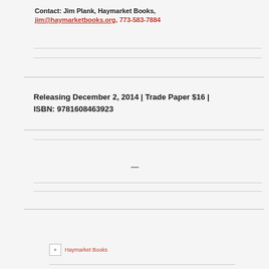Contact: Jim Plank, Haymarket Books, jim@haymarketbooks.org, 773-583-7884
Releasing December 2, 2014 | Trade Paper $16 | ISBN: 9781608463923
—
[Figure (logo): Haymarket Books logo with small square icon and red text reading Haymarket Books]